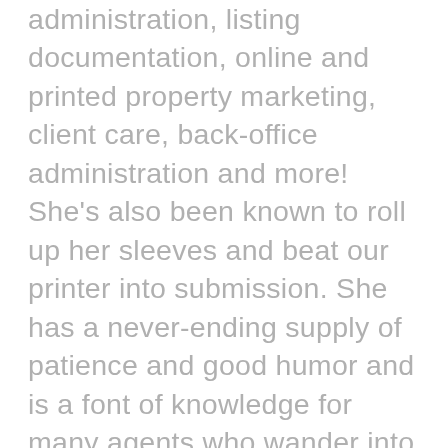administration, listing documentation, online and printed property marketing, client care, back-office administration and more! She's also been known to roll up her sleeves and beat our printer into submission. She has a never-ending supply of patience and good humor and is a font of knowledge for many agents who wander into my office looking for help (unless I chase them out first so Diane can work uninterrupted!) < So with all that experience and know-how, it's no wonder that she nailed her real estate exam last year and is also looking forward to working